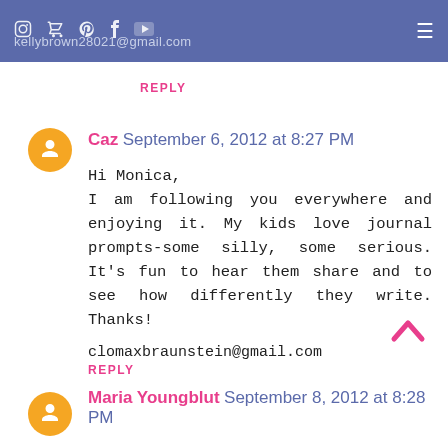kellybrown28021@gmail.com
REPLY
Caz September 6, 2012 at 8:27 PM
Hi Monica,
I am following you everywhere and enjoying it. My kids love journal prompts-some silly, some serious. It's fun to hear them share and to see how differently they write. Thanks!

clomaxbraunstein@gmail.com
REPLY
Maria Youngblut September 8, 2012 at 8:28 PM